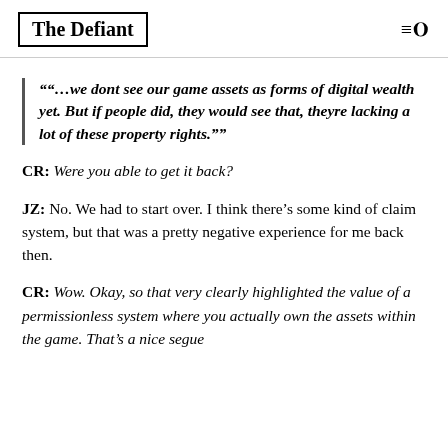The Defiant
""…we dont see our game assets as forms of digital wealth yet. But if people did, they would see that, theyre lacking a lot of these property rights.""
CR: Were you able to get it back?
JZ: No. We had to start over. I think there's some kind of claim system, but that was a pretty negative experience for me back then.
CR: Wow. Okay, so that very clearly highlighted the value of a permissionless system where you actually own the assets within the game. That's a nice segue